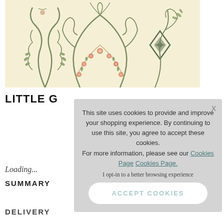[Figure (illustration): Vintage floral wallpaper illustration with scrolling green botanical motifs, pink roses garland, and a diamond-shaped emblem on a cream/yellow background.]
LITTLE G…
Loading...
SUMMARY
DELIVERY
This site uses cookies to provide and improve your shopping experience. By continuing to use this site, you agree to accept these cookies. For more information, please see our Cookies Page Cookies Page.
I opt-in to a better browsing experience
ACCEPT COOKIES